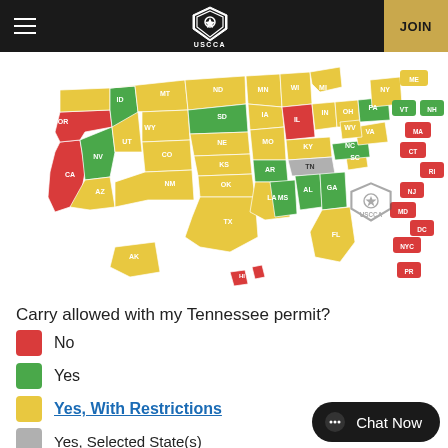USCCA — JOIN
[Figure (map): US map showing carry reciprocity for Tennessee permit. States colored red (No), green (Yes), yellow (Yes With Restrictions), gray (Yes Selected States). Small state labels: OR, ID, SD, WI, MI, WY, NE, IA, IL, IN, OH, PA, NY, NV, UT, CO, KS, MO, KY, WV, VA, NC, CA, AZ, NM, OK, AR, TN, SC, GA, TX, LA, MS, FL, AK, HI, ME, VT, NH, MA, CT, RI, NJ, MD, DC, NYC, PR]
Carry allowed with my Tennessee permit?
No
Yes
Yes, With Restrictions
Yes, Selected State(s)